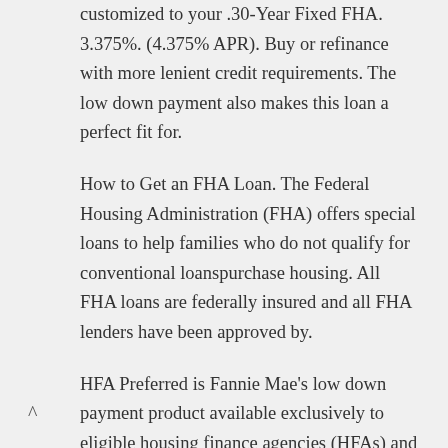customized to your .30-Year Fixed FHA. 3.375%. (4.375% APR). Buy or refinance with more lenient credit requirements. The low down payment also makes this loan a perfect fit for.
How to Get an FHA Loan. The Federal Housing Administration (FHA) offers special loans to help families who do not qualify for conventional loanspurchase housing. All FHA loans are federally insured and all FHA lenders have been approved by.
HFA Preferred is Fannie Mae's low down payment product available exclusively to eligible housing finance agencies (HFAs) and approved lenders in their network. This mortgage product is designed